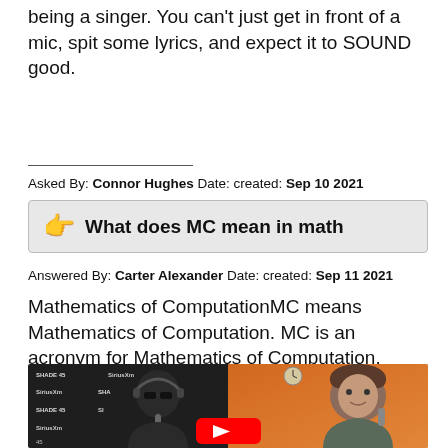being a singer. You can't just get in front of a mic, spit some lyrics, and expect it to SOUND good.
Asked By: Connor Hughes Date: created: Sep 10 2021
What does MC mean in math
Answered By: Carter Alexander Date: created: Sep 11 2021
Mathematics of ComputationMC means Mathematics of Computation. MC is an acronym for Mathematics of Computation.
[Figure (screenshot): Video thumbnail showing two people in a radio studio with SiriusXM/Shade 45 branding, with a YouTube play button overlay]